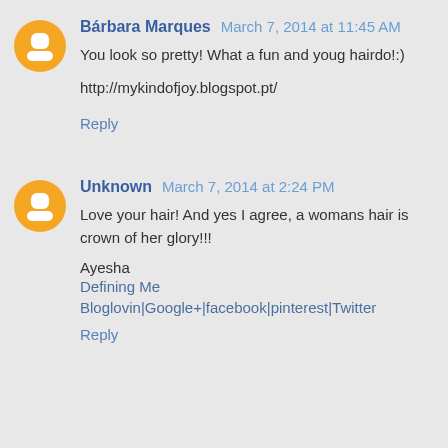Bárbara Marques March 7, 2014 at 11:45 AM
You look so pretty! What a fun and youg hairdo!:)
http://mykindofjoy.blogspot.pt/
Reply
Unknown March 7, 2014 at 2:24 PM
Love your hair! And yes I agree, a womans hair is crown of her glory!!!
Ayesha
Defining Me
Bloglovin|Google+|facebook|pinterest|Twitter
Reply